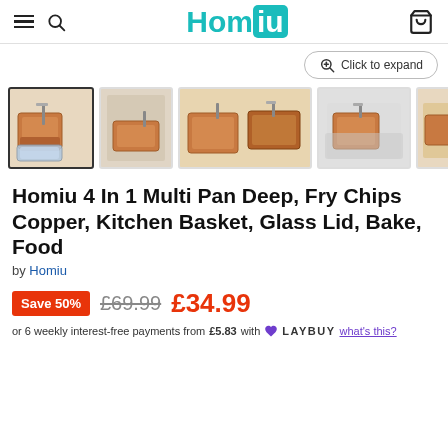Homiu (logo) — navigation header with hamburger, search, cart icons
[Figure (screenshot): Click to expand button with magnifier icon]
[Figure (photo): Product thumbnail strip: 5 photos of copper multi-pan set with glass lid, fry basket, and accessories. First thumbnail is selected/active.]
Homiu 4 In 1 Multi Pan Deep, Fry Chips Copper, Kitchen Basket, Glass Lid, Bake, Food
by Homiu
Save 50%  £69.99  £34.99
or 6 weekly interest-free payments from £5.83 with ♥ LAYBUY what's this?